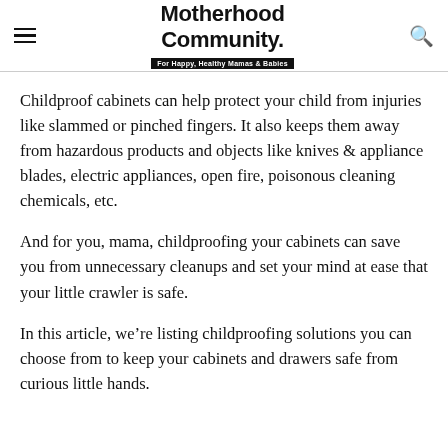Motherhood Community. For Happy, Healthy Mamas & Babies
Childproof cabinets can help protect your child from injuries like slammed or pinched fingers. It also keeps them away from hazardous products and objects like knives & appliance blades, electric appliances, open fire, poisonous cleaning chemicals, etc.
And for you, mama, childproofing your cabinets can save you from unnecessary cleanups and set your mind at ease that your little crawler is safe.
In this article, we’re listing childproofing solutions you can choose from to keep your cabinets and drawers safe from curious little hands.